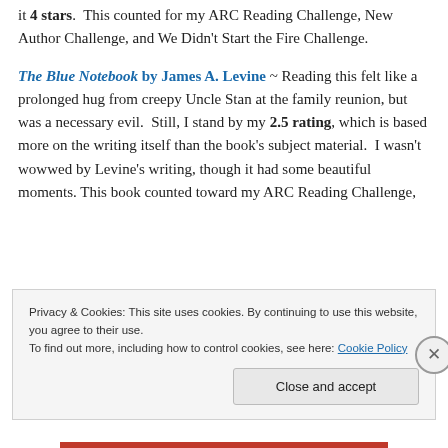it 4 stars. This counted for my ARC Reading Challenge, New Author Challenge, and We Didn't Start the Fire Challenge.
The Blue Notebook by James A. Levine ~ Reading this felt like a prolonged hug from creepy Uncle Stan at the family reunion, but was a necessary evil. Still, I stand by my 2.5 rating, which is based more on the writing itself than the book's subject material. I wasn't wowwed by Levine's writing, though it had some beautiful moments. This book counted toward my ARC Reading Challenge,
Privacy & Cookies: This site uses cookies. By continuing to use this website, you agree to their use.
To find out more, including how to control cookies, see here: Cookie Policy